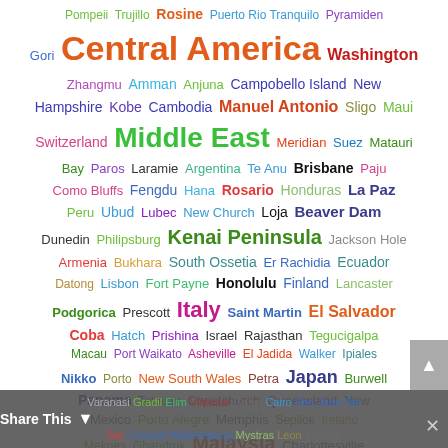[Figure (infographic): Word cloud of travel destinations in various colors and sizes, including: Central America, Middle East, Morocco, Italy, Japan, Malaysia, El Salvador, Kenai Peninsula, Campobello Island, New Hampshire, Switzerland, Honduras, Rosine, Pyramiden, Gori, Washington, Zhangmu, Amman, Anjuna, Kobe, Cambodia, Manuel Antonio, Sligo, Maui, Meridian, Suez, Matauri Bay, Paros, Laramie, Argentina, Te Anu, Brisbane, Paju, Como Bluffs, Fengdu, Hana, Rosario, La Paz, Peru, Ubud, Lubec, New Church, Loja, Beaver Dam, Dunedin, Philipsburg, Jackson Hole, Armenia, Bukhara, South Ossetia, Er Rachidia, Ecuador, Datong, Lisbon, Fort Payne, Honolulu, Finland, Lancaster, Podgorica, Prescott, Saint Martin, Coba, Hatch, Prishina, Israel, Rajasthan, Tegucigalpa, Macau, Port Waikato, Asheville, El Jadida, Walker, Ipiales, Nikko, Porto, New South Wales, Petra, Burwell, Panama, Tetouan, Christchurch, Queensland, New Mexico, Porto Alegre, Memphis, Sepilok, Ireland, Meknes, Ghandruk, Charlottesville, Khiva, Singapore, Venezuela, Charleston, Varanasi, Gradil, Elim, Virpazar, Galax, Cairo, San Juan Del Sur, Colonial Williamsburg, Mystras, Leon, Kosovo]
Share This — Varanasi Gradil Elim Virpazar Galax Cairo San Juan Del Sur Colonial Williamsburg Mystras Leon Kosovo